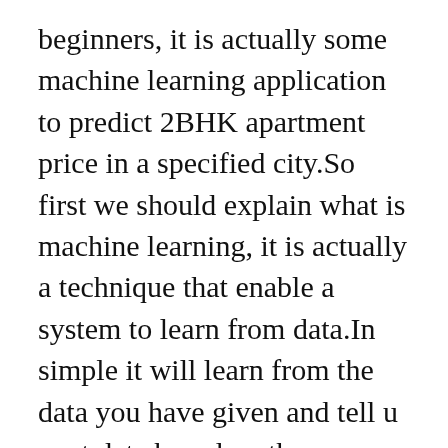beginners, it is actually some machine learning application to predict 2BHK apartment price in a specified city.So first we should explain what is machine learning, it is actually a technique that enable a system to learn from data.In simple it will learn from the data you have given and tell u next data based on the learning. To do machine learning project in python you have to download